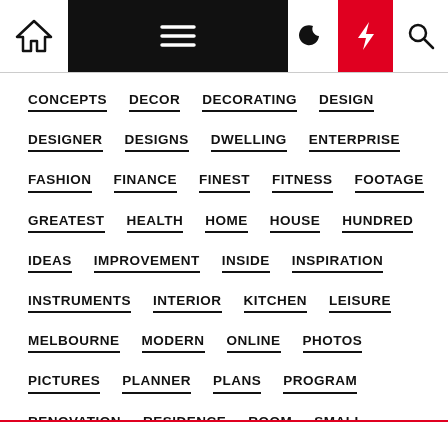Navigation bar with home, menu, moon, bolt, search icons
CONCEPTS
DECOR
DECORATING
DESIGN
DESIGNER
DESIGNS
DWELLING
ENTERPRISE
FASHION
FINANCE
FINEST
FITNESS
FOOTAGE
GREATEST
HEALTH
HOME
HOUSE
HUNDRED
IDEAS
IMPROVEMENT
INSIDE
INSPIRATION
INSTRUMENTS
INTERIOR
KITCHEN
LEISURE
MELBOURNE
MODERN
ONLINE
PHOTOS
PICTURES
PLANNER
PLANS
PROGRAM
RENOVATION
RESIDENCE
ROOM
SMALL
SOFTWARE
TECHNOLOGY
TRAVEL